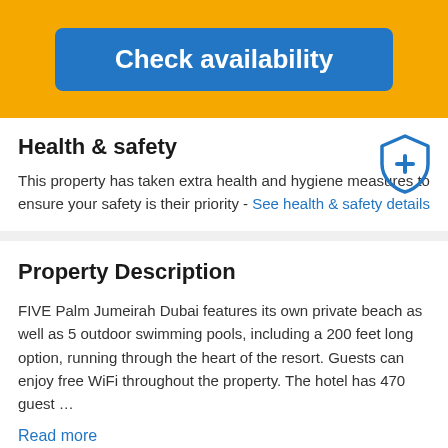[Figure (other): Blue 'Check availability' button on yellow/orange banner background]
Health & safety
This property has taken extra health and hygiene measures to ensure your safety is their priority - See health & safety details
[Figure (other): Blue shield icon with a plus/cross symbol inside]
Property Description
FIVE Palm Jumeirah Dubai features its own private beach as well as 5 outdoor swimming pools, including a 200 feet long option, running through the heart of the resort. Guests can enjoy free WiFi throughout the property. The hotel has 470 guest …
Read more